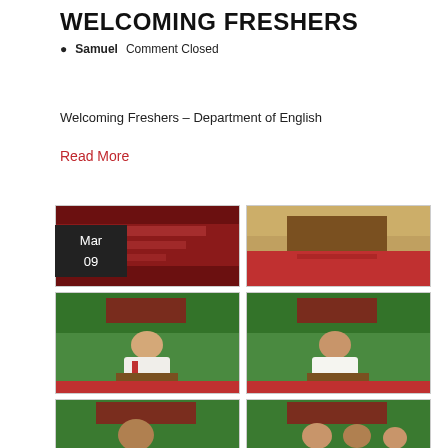WELCOMING FRESHERS
Samuel   Comment Closed
Welcoming Freshers – Department of English
Read More
[Figure (photo): Six photos from the Welcoming Freshers event at the Department of English, showing speakers at a podium with red and green decorations, a date badge showing Mar 09]
Mar
09